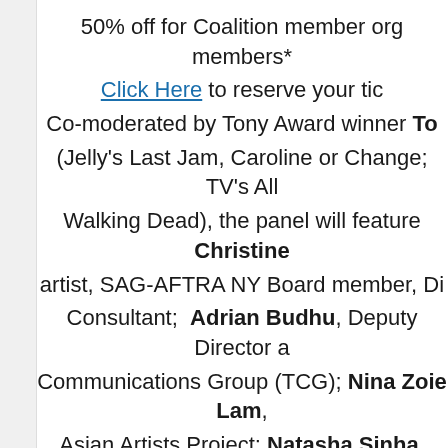50% off for Coalition member org members* Click Here to reserve your tic Co-moderated by Tony Award winner To (Jelly's Last Jam, Caroline or Change; TV's All Walking Dead), the panel will feature Christine artist, SAG-AFTRA NY Board member, Di Consultant; Adrian Budhu, Deputy Director Communications Group (TCG); Nina Zoie Lam, Asian Artists Project; Natasha Sinha, director o Signature Theatre; Ludovica Villar-Hauser, four of Parity Productions.
Theater in the US has evolved with many of inequities that exist in our larger society. Many b important to give artistic voice to a range of hu accurately reflect the diversity of our country and political climate, this work becomes even more i equity and inclusion becoming more central as